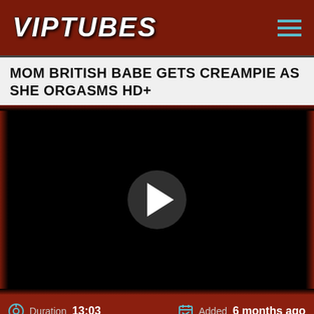VIPTUBES
MOM BRITISH BABE GETS CREAMPIE AS SHE ORGASMS HD+
[Figure (screenshot): Video player with black background and centered play button circle]
Duration 13:03  Added 6 months ago
0  0  Comments 1